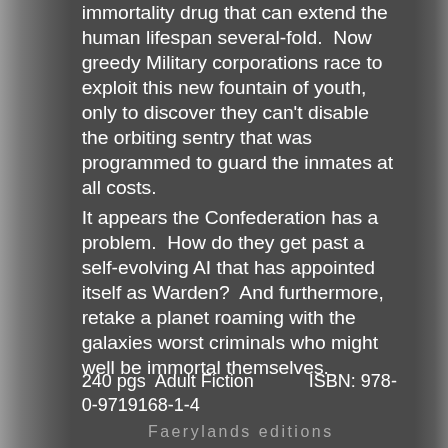immortality drug that can extend the human lifespan several-fold. Now greedy Military corporations race to exploit this new fountain of youth, only to discover they can't disable the orbiting sentry that was programmed to guard the inmates at all costs.
It appears the Confederation has a problem. How do they get past a self-evolving AI that has appointed itself as Warden? And furthermore, retake a planet roaming with the galaxies worst criminals who might well be immortal themselves.
240 pgs  Adult Fiction          ISBN: 978-0-9719168-1-4
Faerylands editions
Faerylands 1·The Grey Forest
Long ago, the Faerie had roamed free, but for countless centuries now the fey have remained unseen, hidden and withdrawn, shrouded within the boundaries of the Evermore. But just how they became imprisoned there